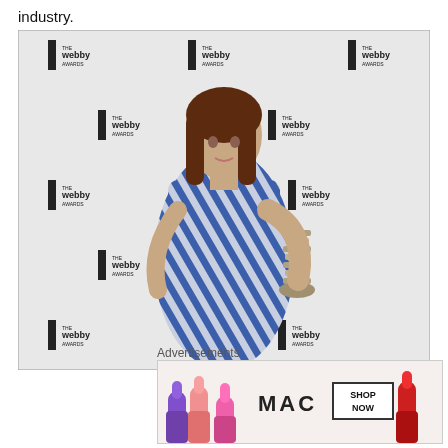industry.
[Figure (photo): Woman in a blue and white striped sleeveless dress holding a Webby Award trophy, standing in front of a Webby Awards step-and-repeat banner backdrop.]
Advertisements
[Figure (photo): MAC cosmetics advertisement showing colorful lipsticks with 'MAC' logo and 'SHOP NOW' button.]